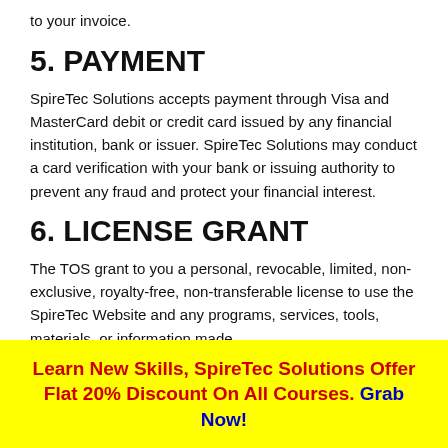to your invoice.
5. PAYMENT
SpireTec Solutions accepts payment through Visa and MasterCard debit or credit card issued by any financial institution, bank or issuer. SpireTec Solutions may conduct a card verification with your bank or issuing authority to prevent any fraud and protect your financial interest.
6. LICENSE GRANT
The TOS grant to you a personal, revocable, limited, non-exclusive, royalty-free, non-transferable license to use the SpireTec Website and any programs, services, tools, materials, or information made
Learn New Skills, SpireTec Solutions Offer Flat 20% Discount On All Courses. Grab Now!